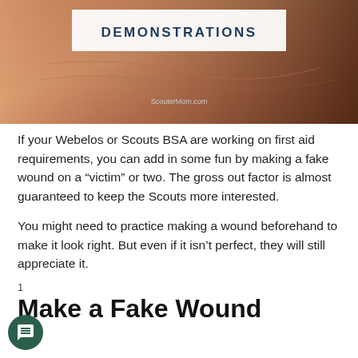[Figure (photo): Close-up photo of a person's forearm/wrist area with a white text box overlay showing the word DEMONSTRATIONS and ScouterMom.com watermark below]
If your Webelos or Scouts BSA are working on first aid requirements, you can add in some fun by making a fake wound on a "victim" or two. The gross out factor is almost guaranteed to keep the Scouts more interested.
You might need to practice making a wound beforehand to make it look right. But even if it isn't perfect, they will still appreciate it.
1
Make a Fake Wound